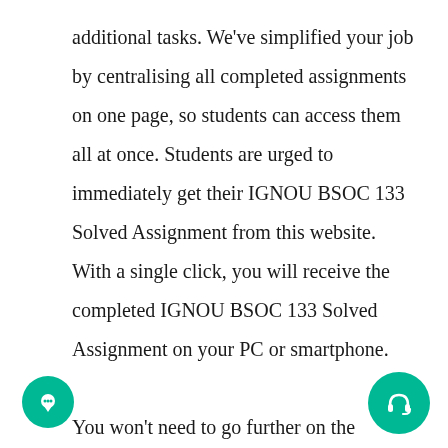additional tasks. We've simplified your job by centralising all completed assignments on one page, so students can access them all at once. Students are urged to immediately get their IGNOU BSOC 133 Solved Assignment from this website. With a single click, you will receive the completed IGNOU BSOC 133 Solved Assignment on your PC or smartphone.

You won't need to go further on the internet since this Website contains all the information you need regarding IGNOU BSOC 133 Solved Assignment for session 20 2022. Students may simply get IGNOU BSOC 133 Solved